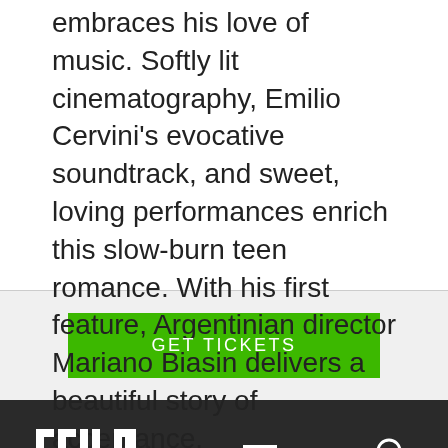embraces his love of music. Softly lit cinematography, Emilio Cervini's evocative soundtrack, and sweet, loving performances enrich this slow-burn teen romance. With his first feature, Argentinian director Mariano Biasin delivers a beautiful story of acceptance.
GET TICKETS
SFILM [logo] [hamburger menu] [search icon]